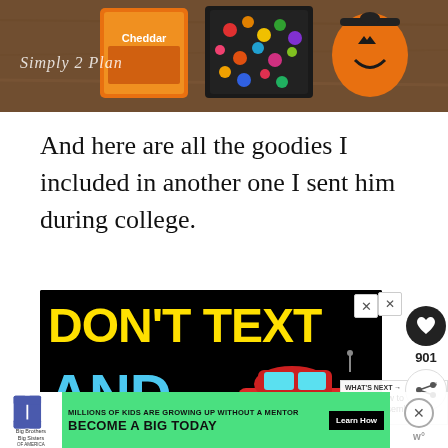[Figure (photo): Top portion of a food/Halloween blog page showing snacks including Cheddar crackers box, candy tray with colorful candies, and a Halloween pumpkin bucket on a wooden surface. Script text reads 'Simply 2 Plan' overlay.]
And here are all the goodies I included in another one I sent him during college.
[Figure (photo): Advertisement with black background showing 'DON'T TEXT' in yellow letters and 'AND' in blue letters with a red cartoon car graphic — a distracted driving awareness ad.]
[Figure (photo): Bottom banner advertisement for Big Brothers Big Sisters of America. Green background with logo and text: 'MILLIONS OF KIDS ARE GROWING UP WITHOUT A MENTOR. BECOME A BIG TODAY' with a Learn How button.]